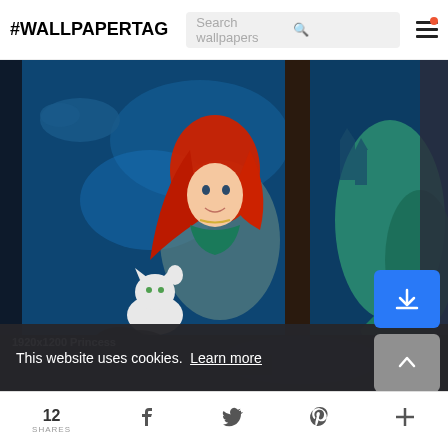#WALLPAPERTAG  Search wallpapers
[Figure (photo): Fantasy digital art illustration showing a mermaid (Ariel from The Little Mermaid) with red hair through a window, a white cat reaching up toward the window, and a person lying in bed in a dark bedroom setting. Underwater scene visible through the window with sea creatures and a castle.]
1920x1200 Princess
This website uses cookies.  Learn more
Got it!
12 SHARES